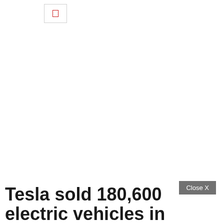[Figure (logo): Small icon/logo box with a red bookmark or document icon inside a thin border]
Close X
Tesla sold 180,600 electric vehicles in